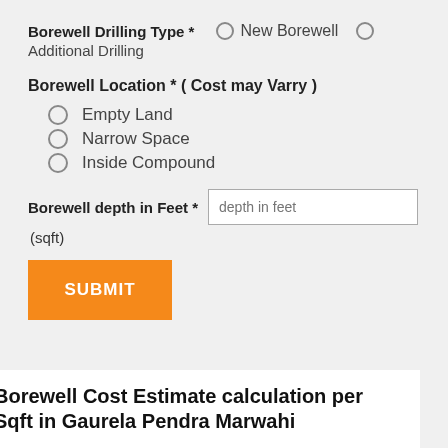Borewell Drilling Type * New Borewell Additional Drilling
Borewell Location * ( Cost may Varry )
Empty Land
Narrow Space
Inside Compound
Borewell depth in Feet * (sqft)
SUBMIT
Borewell Cost Estimate calculation per Sqft in Gaurela Pendra Marwahi